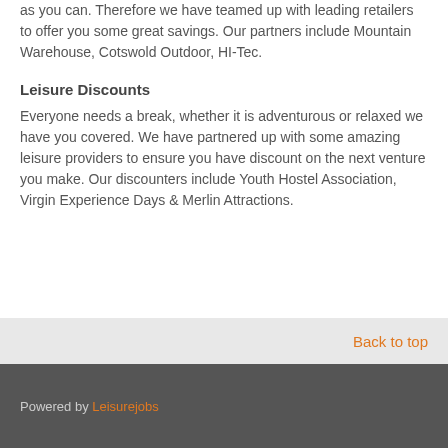We want you to keep as many of those hard earned pennies as you can. Therefore we have teamed up with leading retailers to offer you some great savings. Our partners include Mountain Warehouse, Cotswold Outdoor, HI-Tec.
Leisure Discounts
Everyone needs a break, whether it is adventurous or relaxed we have you covered. We have partnered up with some amazing leisure providers to ensure you have discount on the next venture you make. Our discounters include Youth Hostel Association, Virgin Experience Days & Merlin Attractions.
Back to top
Powered by Leisurejobs